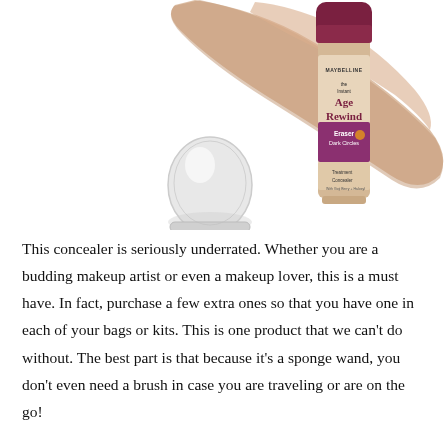[Figure (photo): Maybelline Instant Age Rewind Eraser Dark Circles Treatment Concealer with sponge wand cap shown beside bottle. A diagonal beige/tan makeup swatch brushstroke appears behind the product on a white background.]
This concealer is seriously underrated. Whether you are a budding makeup artist or even a makeup lover, this is a must have. In fact, purchase a few extra ones so that you have one in each of your bags or kits. This is one product that we can't do without. The best part is that because it's a sponge wand, you don't even need a brush in case you are traveling or are on the go!